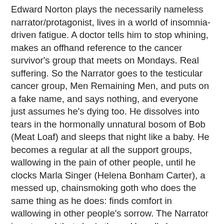Edward Norton plays the necessarily nameless narrator/protagonist, lives in a world of insomnia-driven fatigue. A doctor tells him to stop whining, makes an offhand reference to the cancer survivor's group that meets on Mondays. Real suffering. So the Narrator goes to the testicular cancer group, Men Remaining Men, and puts on a fake name, and says nothing, and everyone just assumes he's dying too. He dissolves into tears in the hormonally unnatural bosom of Bob (Meat Loaf) and sleeps that night like a baby. He becomes a regular at all the support groups, wallowing in the pain of other people, until he clocks Marla Singer (Helena Bonham Carter), a messed up, chainsmoking goth who does the same thing as he does: finds comfort in wallowing in other people's sorrow. The Narrator is outraged that she is there. He calls her a tourist, confronts her angrily.
Right from the get go, our hero is signified as an awful person. He leeches other people's pain for the sake of his own catharsis, and when he meets Marla, his outrage is the outrage of the man caught in the act (Marla is no less revolting a person, but she is marginally more sympathetic because at least she owns what she's doing). They